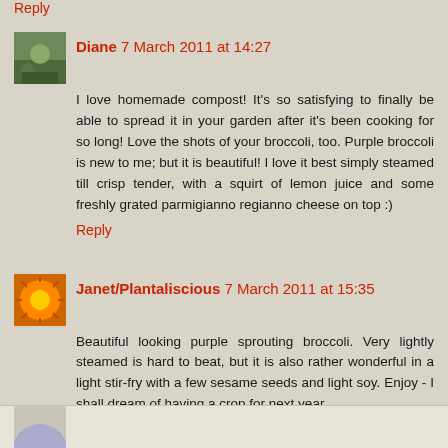Reply
Diane 7 March 2011 at 14:27
I love homemade compost! It's so satisfying to finally be able to spread it in your garden after it's been cooking for so long! Love the shots of your broccoli, too. Purple broccoli is new to me; but it is beautiful! I love it best simply steamed till crisp tender, with a squirt of lemon juice and some freshly grated parmigianno regianno cheese on top :)
Reply
Janet/Plantaliscious 7 March 2011 at 15:35
Beautiful looking purple sprouting broccoli. Very lightly steamed is hard to beat, but it is also rather wonderful in a light stir-fry with a few sesame seeds and light soy. Enjoy - I shall dream of having a crop for next year.
Reply